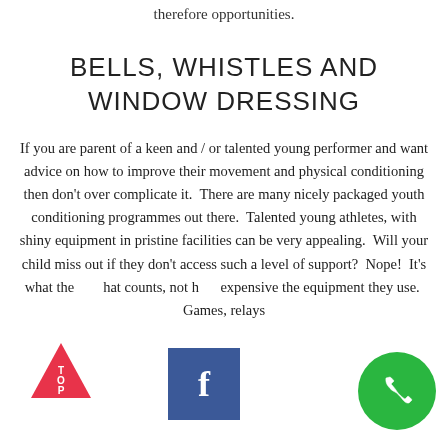therefore opportunities.
BELLS, WHISTLES AND WINDOW DRESSING
If you are parent of a keen and / or talented young performer and want advice on how to improve their movement and physical conditioning then don't over complicate it.  There are many nicely packaged youth conditioning programmes out there.  Talented young athletes, with shiny equipment in pristine facilities can be very appealing.  Will your child miss out if they don't access such a level of support?  Nope!  It's what they do that counts, not how expensive the equipment they use.  Games, relays
[Figure (logo): Red triangle with TOP text - back to top button]
[Figure (logo): Facebook icon button - blue square with white f]
[Figure (logo): Green circle phone/call icon button]